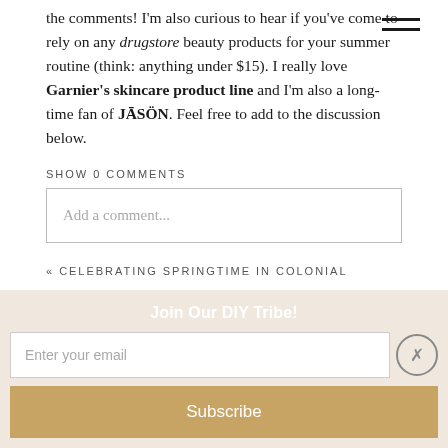the comments! I’m also curious to hear if you’ve come to rely on any drugstore beauty products for your summer routine (think: anything under $15). I really love Garnier’s skincare product line and I’m also a long-time fan of JĀSÖN. Feel free to add to the discussion below.
SHOW 0 COMMENTS
Add a comment...
« CELEBRATING SPRINGTIME IN COLONIAL
Join Our DIY Tribe!
Enter your email
Subscribe